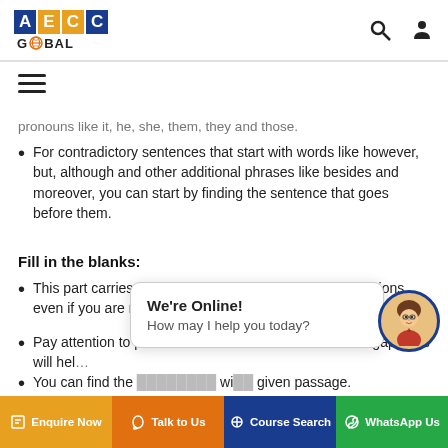AECC GLOBAL
pronouns like it, he, she, them, they and those.
For contradictory sentences that start with words like however, but, although and other additional phrases like besides and moreover, you can start by finding the sentence that goes before them.
Fill in the blanks:
This part carries no negative marking. Answer the questions even if you are not sure of the right answer.
Pay attention to parts of the audio before and after the gap. This will hel...
You can find the ... wi... given passage.
[Figure (illustration): Chat popup with 'We're Online! How may I help you today?' and an avatar icon]
Enquire Now | Talk to Us | Course Search | WhatsApp Us